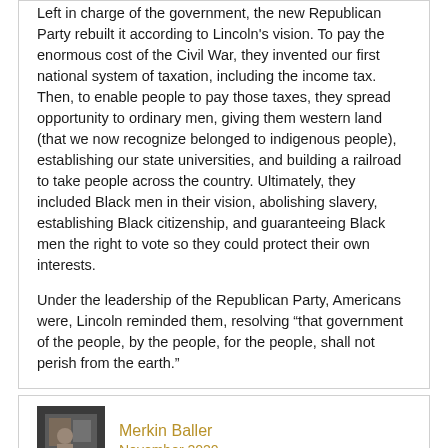Left in charge of the government, the new Republican Party rebuilt it according to Lincoln's vision. To pay the enormous cost of the Civil War, they invented our first national system of taxation, including the income tax. Then, to enable people to pay those taxes, they spread opportunity to ordinary men, giving them western land (that we now recognize belonged to indigenous people), establishing our state universities, and building a railroad to take people across the country. Ultimately, they included Black men in their vision, abolishing slavery, establishing Black citizenship, and guaranteeing Black men the right to vote so they could protect their own interests.
Under the leadership of the Republican Party, Americans were, Lincoln reminded them, resolving “that government of the people, by the people, for the people, shall not perish from the earth.”
Merkin Baller
November 2020
I enjoy reading all of them, but today’s was particularly good